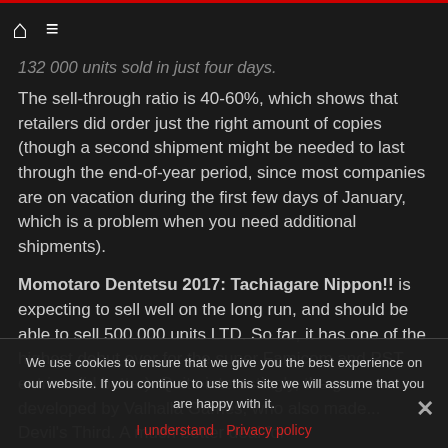🏠 ☰
132 000 units sold in just four days.
The sell-through ratio is 40-60%, which shows that retailers did order just the right amount of copies (though a second shipment might be needed to last through the end-of-year period, since most companies are on vacation during the first few days of January, which is a problem when you need additional shipments).
Momotaro Dentetsu 2017: Tachiagare Nippon!! is expecting to sell well on the long run, and should be able to sell 500 000 units LTD. So far, it has one of the highest debut ever for the super Famicom and PS1 entries did better). Quite interestingly, the game was developed by Valhalla Games, who also made... Devil's Third. A much better deal for
We use cookies to ensure that we give you the best experience on our website. If you continue to use this site we will assume that you are happy with it.
I understand   Privacy policy